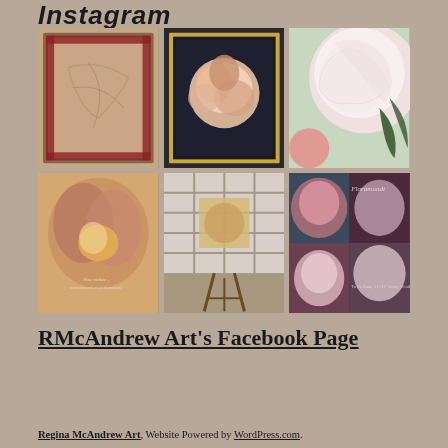Instagram
[Figure (photo): A 2x3 grid of Instagram photos showing floral and art studio artwork by Regina McAndrew Art, including framed paintings of peonies and flowers, studio setup, and promotional images]
RMcAndrew Art's Facebook Page
Regina McAndrew Art. Website Powered by WordPress.com.